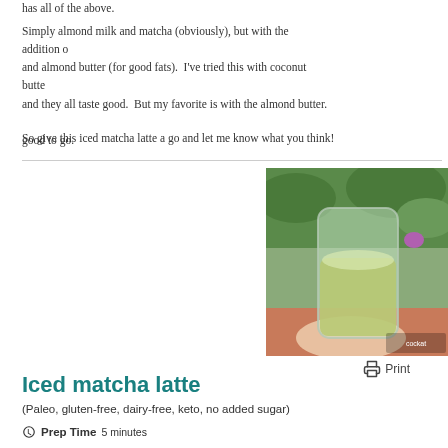has all of the above.
Simply almond milk and matcha (obviously), but with the addition of and almond butter (for good fats). I've tried this with coconut butter and they all taste good. But my favorite is with the almond butter. A good to go.
So give this iced matcha latte a go and let me know what you think!
[Figure (photo): A hand holding a glass of green iced matcha latte outdoors with greenery in the background]
Print
Iced matcha latte
(Paleo, gluten-free, dairy-free, keto, no added sugar)
Prep Time 5 minutes
Servings 1